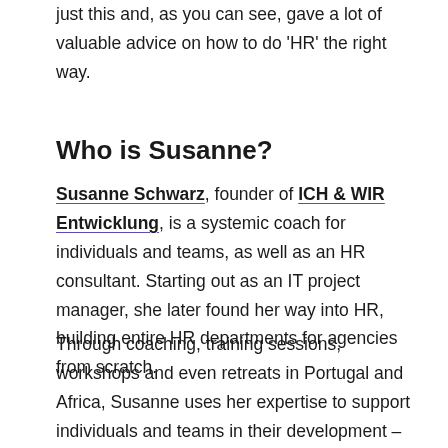just this and, as you can see, gave a lot of valuable advice on how to do 'HR' the right way.
Who is Susanne?
Susanne Schwarz, founder of ICH & WIR Entwicklung, is a systemic coach for individuals and teams, as well as an HR consultant. Starting out as an IT project manager, she later found her way into HR, building entire HR departments for agencies from scratch.
Through coaching, training sessions, workshops and even retreats in Portugal and Africa, Susanne uses her expertise to support individuals and teams in their development – for their personal, professional and entrepreneurial success.